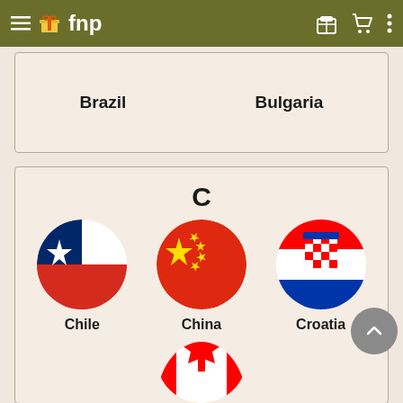fnp navigation bar
| Brazil | Bulgaria |
| --- | --- |
C
[Figure (illustration): Chile flag - circular, blue triangle on left with white star, white and red horizontal halves]
Chile
[Figure (illustration): China flag - circular, red with large yellow star and four smaller yellow stars]
China
[Figure (illustration): Croatia flag - circular, red-white-blue horizontal stripes with coat of arms checkerboard shield]
Croatia
[Figure (illustration): Canada flag - circular, white center with red maple leaf and red vertical stripes on sides (partially visible)]